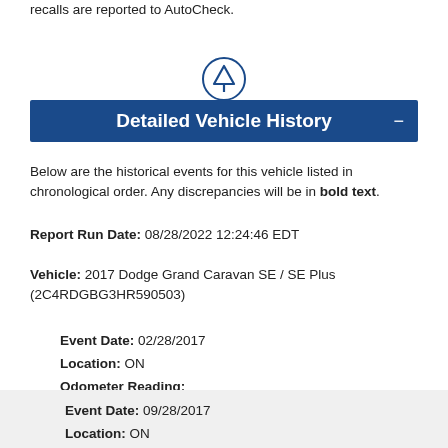recalls are reported to AutoCheck.
[Figure (illustration): Upward arrow icon in a circle]
Detailed Vehicle History
Below are the historical events for this vehicle listed in chronological order. Any discrepancies will be in bold text.
Report Run Date: 08/28/2022 12:24:46 EDT
Vehicle: 2017 Dodge Grand Caravan SE / SE Plus (2C4RDGBG3HR590503)
Event Date: 02/28/2017
Location: ON
Odometer Reading:
Data Source: Motor Vehicle Dept.
Details: CANADIAN RENEWAL
Event Date: 09/28/2017
Location: ON
Odometer Reading: